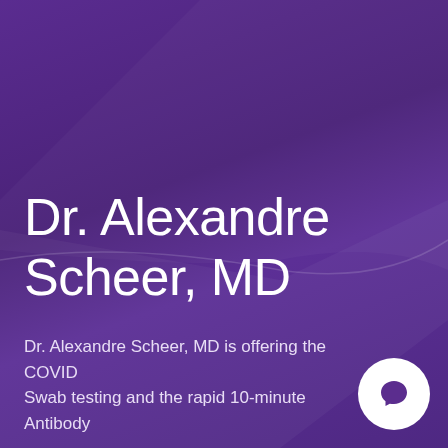[Figure (illustration): Purple gradient background with subtle decorative curved line element suggesting a medical coat or folder shape in slightly lighter purple tones]
Dr. Alexandre Scheer, MD
Dr. Alexandre Scheer, MD is offering the COVID Swab testing and the rapid 10-minute Antibody